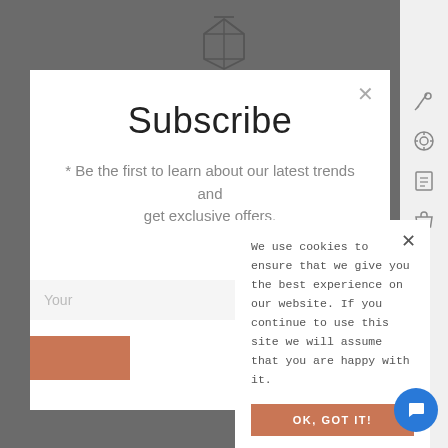[Figure (screenshot): Top background icon resembling a lantern or gem outline]
Subscribe
* Be the first to learn about our latest trends and get exclusive offers.
We use cookies to ensure that we give you the best experience on our website. If you continue to use this site we will assume that you are happy with it.
OK, GOT IT!
[Figure (other): Blue circular chat button with speech bubble icon in bottom right]